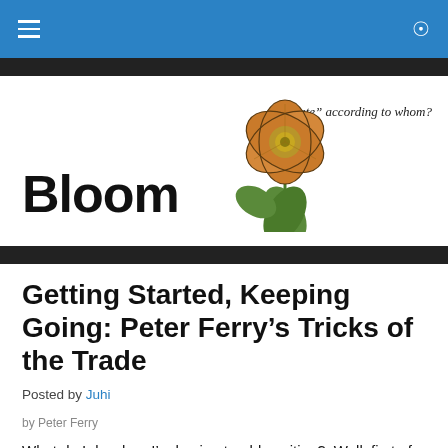Bloom — "Late" according to whom?
[Figure (logo): Bloom literary magazine logo: bold black 'Bloom' text with an illustrated orange flower and tagline '"Late" according to whom?']
Getting Started, Keeping Going: Peter Ferry's Tricks of the Trade
Posted by Juhi
by Peter Ferry
What do I do when I'm having trouble writing?  Well, first of